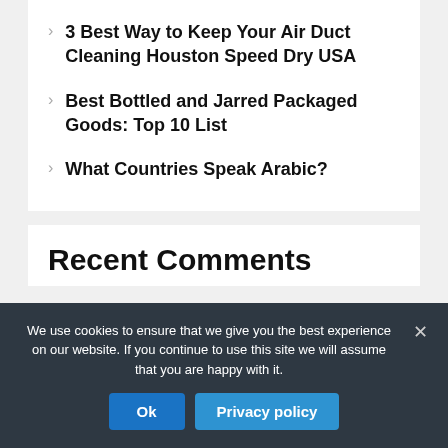3 Best Way to Keep Your Air Duct Cleaning Houston Speed Dry USA
Best Bottled and Jarred Packaged Goods: Top 10 List
What Countries Speak Arabic?
Recent Comments
We use cookies to ensure that we give you the best experience on our website. If you continue to use this site we will assume that you are happy with it.